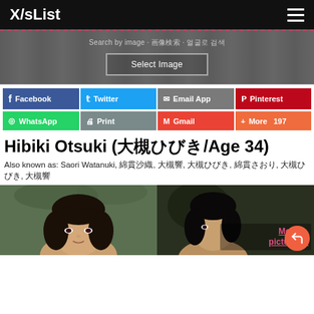X/sList
Search by image · 画像検索 · 얼굴로 검색
Select Image
Facebook | Twitter | Email App | Pinterest | WhatsApp | Print | Gmail | More 197
Hibiki Otsuki (大槻ひびき/Age 34)
Also known as: Saori Watanuki, 綿貫沙織, 大槻響, 大槻ひびき, 綿貫さおり, 大槻ひびき, 大槻響
[Figure (photo): Two photos of Hibiki Otsuki side by side, with a 'More pictures...' link overlay on the right photo]